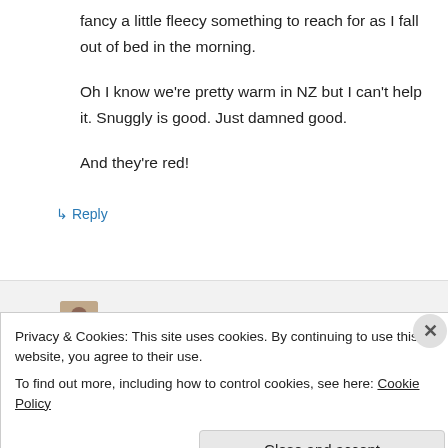fancy a little fleecy something to reach for as I fall out of bed in the morning.
Oh I know we're pretty warm in NZ but I can't help it. Snuggly is good. Just damned good.
And they're red!
↳ Reply
Tanit-Isis on May 11, 2013 at 7:04 am
Privacy & Cookies: This site uses cookies. By continuing to use this website, you agree to their use.
To find out more, including how to control cookies, see here: Cookie Policy
Close and accept